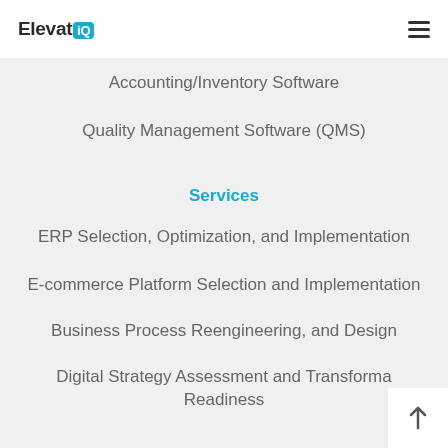ElevatIQ
Accounting/Inventory Software
Quality Management Software (QMS)
Services
ERP Selection, Optimization, and Implementation
E-commerce Platform Selection and Implementation
Business Process Reengineering, and Design
Digital Strategy Assessment and Transformation Readiness